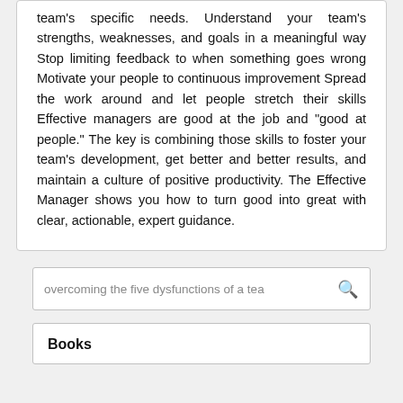team's specific needs. Understand your team's strengths, weaknesses, and goals in a meaningful way Stop limiting feedback to when something goes wrong Motivate your people to continuous improvement Spread the work around and let people stretch their skills Effective managers are good at the job and "good at people." The key is combining those skills to foster your team's development, get better and better results, and maintain a culture of positive productivity. The Effective Manager shows you how to turn good into great with clear, actionable, expert guidance.
overcoming the five dysfunctions of a team
Books